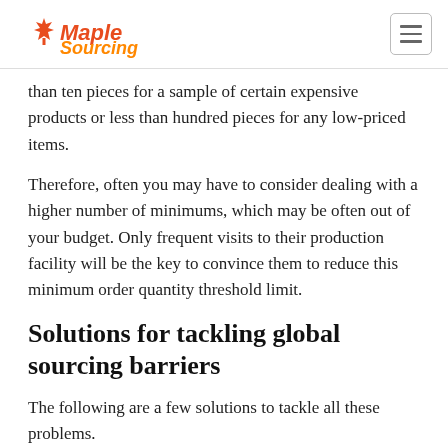Maple Sourcing
than ten pieces for a sample of certain expensive products or less than hundred pieces for any low-priced items.
Therefore, often you may have to consider dealing with a higher number of minimums, which may be often out of your budget. Only frequent visits to their production facility will be the key to convince them to reduce this minimum order quantity threshold limit.
Solutions for tackling global sourcing barriers
The following are a few solutions to tackle all these problems.
Background research